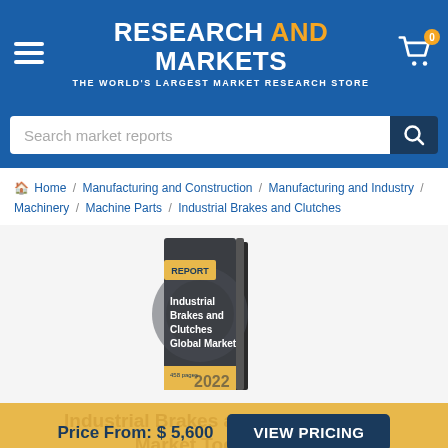RESEARCH AND MARKETS — THE WORLD'S LARGEST MARKET RESEARCH STORE
Search market reports
Home / Manufacturing and Construction / Manufacturing and Industry / Machinery / Machine Parts / Industrial Brakes and Clutches
[Figure (photo): Book cover image for 'Industrial Brakes and Clutches Global Market' report, 458 pages, 2022, with REPORT label tag]
Price From: $5,600
VIEW PRICING